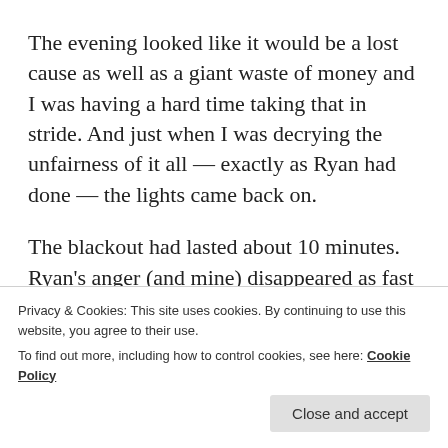The evening looked like it would be a lost cause as well as a giant waste of money and I was having a hard time taking that in stride. And just when I was decrying the unfairness of it all — exactly as Ryan had done — the lights came back on.
The blackout had lasted about 10 minutes. Ryan's anger (and mine) disappeared as fast as it had come. We told the sitter to call us if the power went back out and jumped in the car. We figured at worst case we could at least enjoy a few minutes of the gala before having to head back.
Privacy & Cookies: This site uses cookies. By continuing to use this website, you agree to their use.
To find out more, including how to control cookies, see here: Cookie Policy